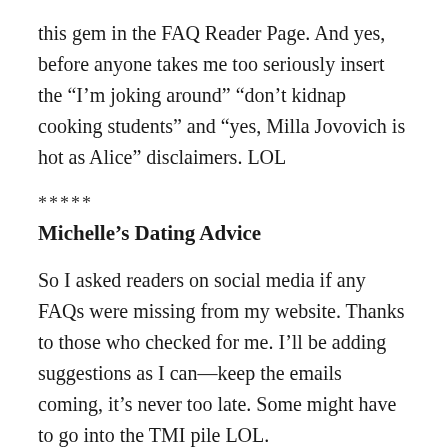this gem in the FAQ Reader Page. And yes, before anyone takes me too seriously insert the “I’m joking around” “don’t kidnap cooking students” and “yes, Milla Jovovich is hot as Alice” disclaimers. LOL
*****
Michelle’s Dating Advice
So I asked readers on social media if any FAQs were missing from my website. Thanks to those who checked for me. I’ll be adding suggestions as I can—keep the emails coming, it’s never too late. Some might have to go into the TMI pile LOL.